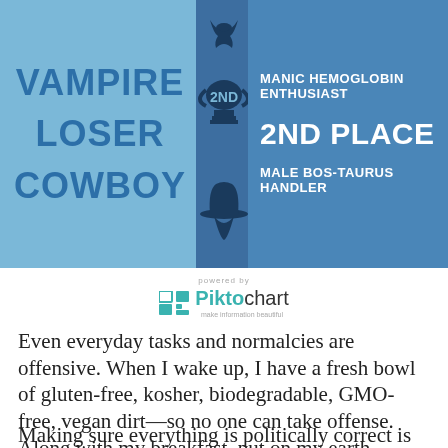[Figure (infographic): Two-column infographic with left light blue panel showing 'VAMPIRE / LOSER / COWBOY', a dark blue center column with trophy (2ND) and cowboy hat icons, and right blue panel showing 'MANIC HEMOGLOBIN ENTHUSIAST / 2ND PLACE / MALE BOS-TAURUS HANDLER'. Piktochart logo below.]
Even everyday tasks and normalcies are offensive. When I wake up, I have a fresh bowl of gluten-free, kosher, biodegradable, GMO-free, vegan dirt—so no one can take offense. Along with my breakfast, put on my earth-friendly frown.
Making sure everything is politically correct is the only way to defend another person's rights